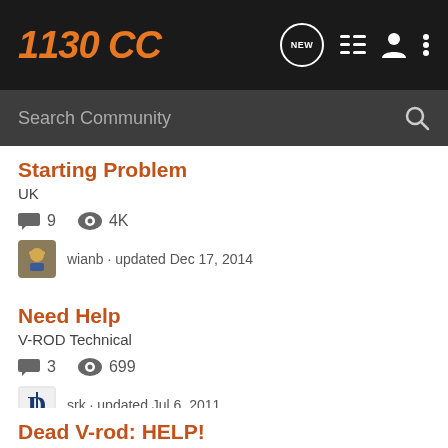1130 CC
Starting Problem
UK
9 comments · 4K views
wianb · updated Dec 17, 2014
Need Help
V-ROD Technical
3 comments · 699 views
srk · updated Jul 6, 2011
Dead V-rod: HELP!
V-ROD General